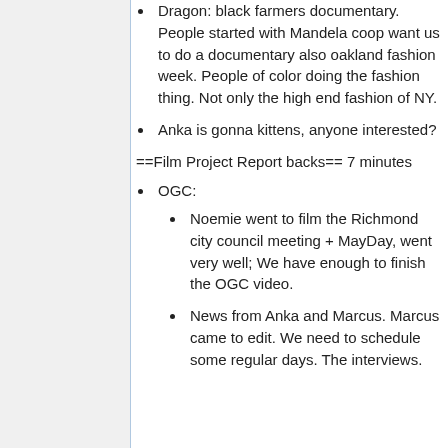Dragon: black farmers documentary. People started with Mandela coop want us to do a documentary also oakland fashion week. People of color doing the fashion thing. Not only the high end fashion of NY.
Anka is gonna kittens, anyone interested?
==Film Project Report backs== 7 minutes
OGC:
Noemie went to film the Richmond city council meeting + MayDay, went very well; We have enough to finish the OGC video.
News from Anka and Marcus. Marcus came to edit. We need to schedule some regular days. The interviews.